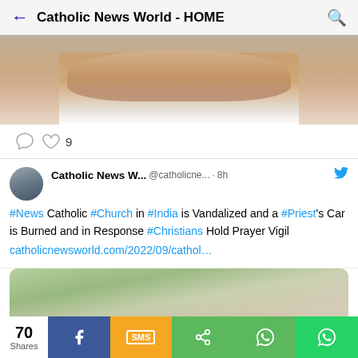Catholic News World - HOME
[Figure (photo): Partial face of an elderly nun smiling, wearing a white habit]
9 (likes)
Catholic News W... @catholicne... · 8h
#News Catholic #Church in #India is Vandalized and a #Priest's Car is Burned and in Response #Christians Hold Prayer Vigil
catholicnewsworld.com/2022/09/cathol…
[Figure (photo): Group of people gathered outside a church building for a prayer vigil]
70 Shares